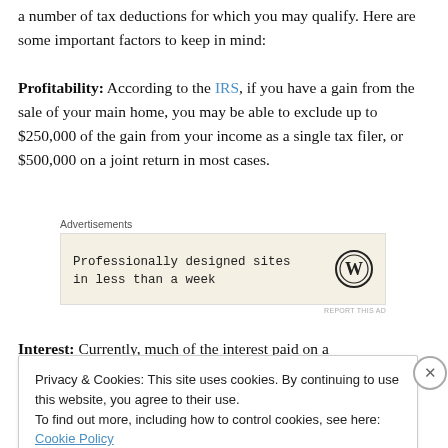a number of tax deductions for which you may qualify. Here are some important factors to keep in mind:
Profitability: According to the IRS, if you have a gain from the sale of your main home, you may be able to exclude up to $250,000 of the gain from your income as a single tax filer, or $500,000 on a joint return in most cases.
[Figure (other): WordPress advertisement banner: 'Professionally designed sites in less than a week' with WordPress logo]
Interest: Currently, much of the interest paid on a
Privacy & Cookies: This site uses cookies. By continuing to use this website, you agree to their use. To find out more, including how to control cookies, see here: Cookie Policy
Close and accept